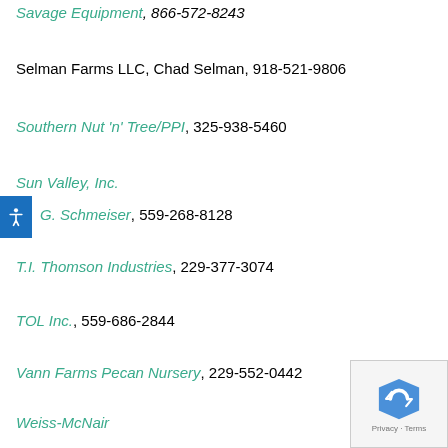Savage Equipment, 866-572-8243
Selman Farms LLC, Chad Selman, 918-521-9806
Southern Nut 'n' Tree/PPI, 325-938-5460
Sun Valley, Inc.
G. Schmeiser, 559-268-8128
T.I. Thomson Industries, 229-377-3074
TOL Inc., 559-686-2844
Vann Farms Pecan Nursery, 229-552-0442
Weiss-McNair
Weldcraft Industries